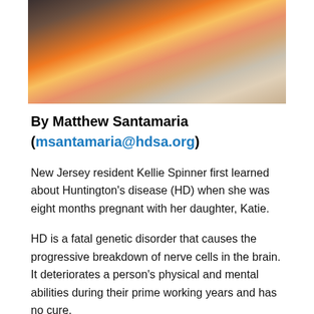[Figure (photo): Photo of three smiling people, one in an orange shirt in the center, flanked by two women, all close together in a selfie-style photo.]
By Matthew Santamaria
(msantamaria@hdsa.org)
New Jersey resident Kellie Spinner first learned about Huntington's disease (HD) when she was eight months pregnant with her daughter, Katie.
HD is a fatal genetic disorder that causes the progressive breakdown of nerve cells in the brain. It deteriorates a person's physical and mental abilities during their prime working years and has no cure.
At that time living in Iowa with her husband, Kellie and Dale received news that Dale's brother David, in